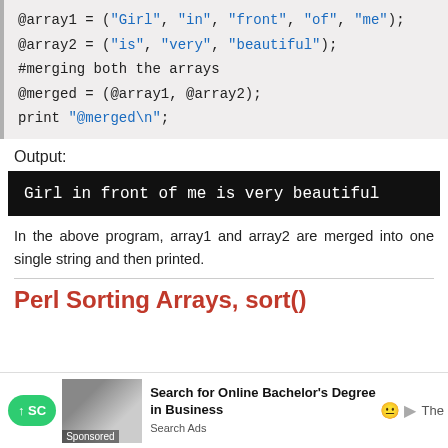[Figure (screenshot): Code block showing Perl array merging: @array1 = ('Girl','in','front','of','me'); @array2 = ('is','very','beautiful'); #merging both the arrays @merged = (@array1, @array2); print '@merged
';]
Output:
[Figure (screenshot): Terminal output block showing: Girl in front of me is very beautiful]
In the above program, array1 and array2 are merged into one single string and then printed.
Perl Sorting Arrays, sort()
[Figure (screenshot): Advertisement bar: green scroll-up button, sponsored image of two women, Search for Online Bachelor's Degree in Business ad]